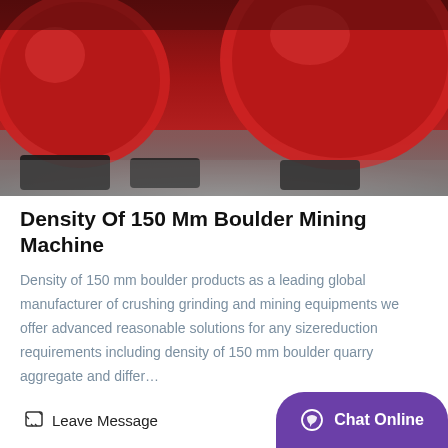[Figure (photo): Close-up photo of red industrial mining/crushing machine parts on a concrete floor]
Density Of 150 Mm Boulder Mining Machine
Density of 150 mm boulder products as a leading global manufacturer of crushing grinding and mining equipments we offer advanced reasonable solutions for any sizereduction requirements including density of 150 mm boulder quarry aggregate and differ...
[Figure (photo): Photo of an industrial or factory building with glass windows and chimneys]
Leave Message
Chat Online